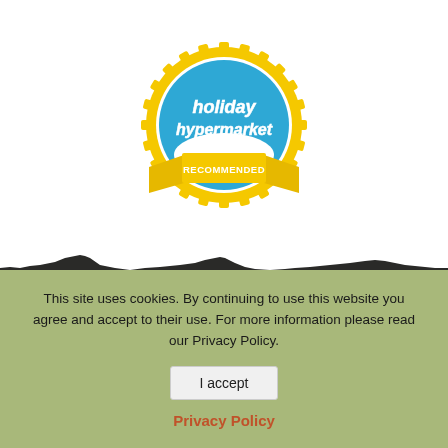[Figure (logo): Holiday Hypermarket Recommended badge/seal — gold sunburst ring around a blue circle with 'holiday hypermarket' text and a gold ribbon banner reading 'RECOMMENDED']
[Figure (illustration): Dark silhouette landscape/skyline of rocky hills or desert terrain at the bottom of the white area]
This site uses cookies. By continuing to use this website you agree and accept to their use. For more information please read our Privacy Policy.
I accept
Privacy Policy